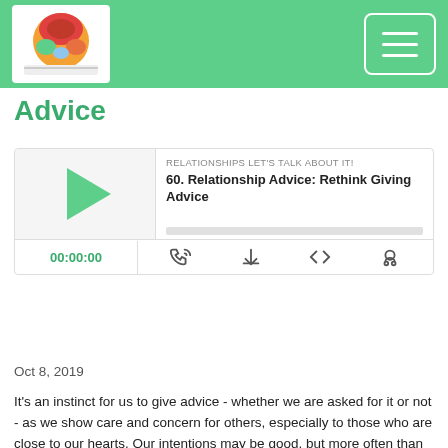Relationships Let's Talk About It! - Relationship Advice
Advice
[Figure (screenshot): Podcast player widget showing episode '60. Relationship Advice: Rethink Giving Advice' from Relationships Let's Talk About It!, with play button, progress bar, timer showing 00:00:00, and media control icons.]
Oct 8, 2019
It's an instinct for us to give advice - whether we are asked for it or not - as we show care and concern for others, especially to those who are close to our hearts. Our intentions may be good, but more often than not, giving unsolicited advice causes more harm than good. Learning how to shift our mindset about showing care and offering help as well as learning other life skills can prove to be more helpful over providing a "quick fix" through unsolicited advice.
Today, I discuss the difference between solicited and